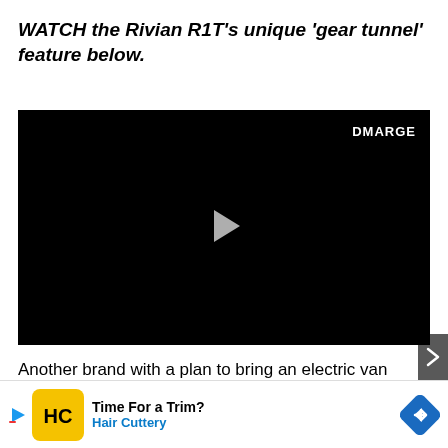WATCH the Rivian R1T's unique 'gear tunnel' feature below.
[Figure (screenshot): Black video player with DMARGE watermark in top-right and a play button in the center]
Another brand with a plan to bring an electric van Down Under was its first vehicle in China — BYD, with their T... As
[Figure (other): Advertisement banner for Hair Cuttery: 'Time For a Trim?' with yellow HC logo, play button, and navigation arrow icon]